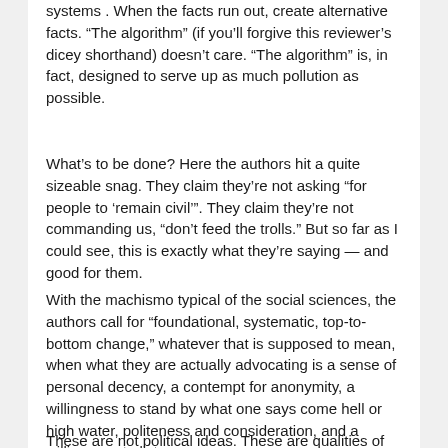systems . When the facts run out, create alternative facts. “The algorithm” (if you’ll forgive this reviewer’s dicey shorthand) doesn’t care. “The algorithm” is, in fact, designed to serve up as much pollution as possible.
What’s to be done? Here the authors hit a quite sizeable snag. They claim they’re not asking “for people to ‘remain civil’”. They claim they’re not commanding us, “don’t feed the trolls.” But so far as I could see, this is exactly what they’re saying — and good for them.
With the machismo typical of the social sciences, the authors call for “foundational, systematic, top-to-bottom change,” whatever that is supposed to mean, when what they are actually advocating is a sense of personal decency, a contempt for anonymity, a willingness to stand by what one says come hell or high water, politeness and consideration, and a willingness to listen.
These are not political ideas. These are qualities of character. One might even call them virtues, of a sort that were once particularly prized by conservatives.